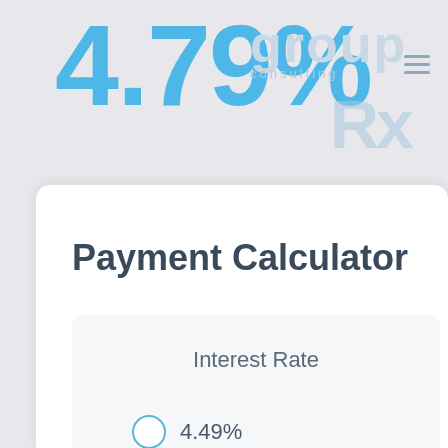[Figure (screenshot): Website header showing large blue '4.79%' rate text overlapping a faded company logo reading 'group consulting' with navigation hamburger menu icon]
Payment Calculator
Interest Rate
4.49%